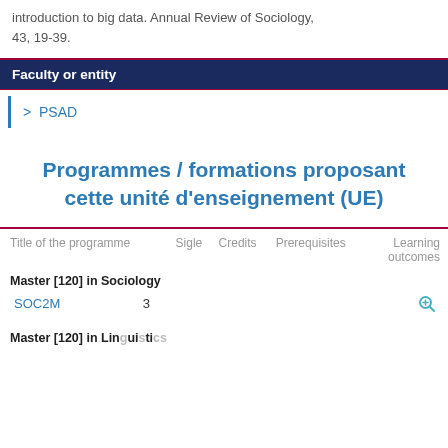introduction to big data. Annual Review of Sociology, 43, 19-39.
Faculty or entity
> PSAD
Programmes / formations proposant cette unité d'enseignement (UE)
| Title of the programme |  | Sigle | Credits | Prerequisites | Learning outcomes |
| --- | --- | --- | --- | --- | --- |
| Master [120] in Sociology |  |  |  |  |  |
| SOC2M | 3 |  |  |  | 🔍 |
| Master [120] in Linguistics |  |  |  |  |  |